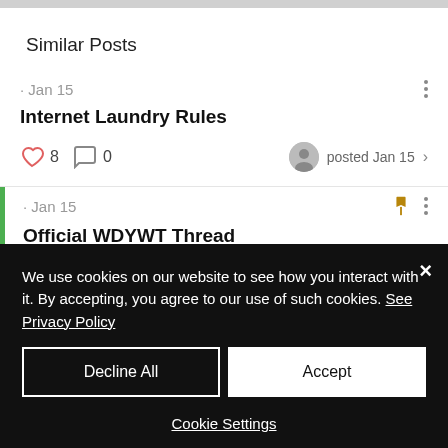Similar Posts
· Jan 15
Internet Laundry Rules
8 likes, 0 comments, posted Jan 15
· Jan 15
Official WDYWT Thread
We use cookies on our website to see how you interact with it. By accepting, you agree to our use of such cookies. See Privacy Policy
Decline All
Accept
Cookie Settings